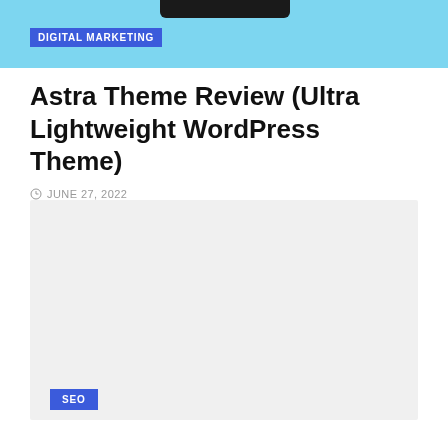[Figure (screenshot): Light blue banner with dark bar at top center and a 'DIGITAL MARKETING' badge label in blue]
Astra Theme Review (Ultra Lightweight WordPress Theme)
JUNE 27, 2022
[Figure (photo): Large light gray placeholder image area]
SEO